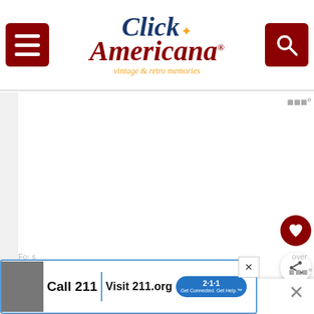Click Americana — vintage & retro memories
[Figure (screenshot): Website screenshot of ClickAmericana.com showing header with menu button, logo, and search button]
WHAT'S NEXT → Vintage chocolate m...
[Figure (screenshot): Advertisement banner: Call 211 | Visit 211.org with 2-1-1 badge logo]